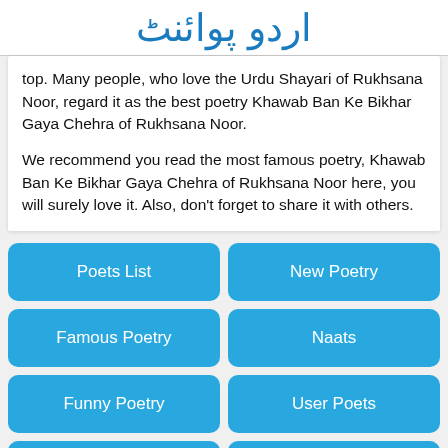اردو پوائنٹ
top. Many people, who love the Urdu Shayari of Rukhsana Noor, regard it as the best poetry Khawab Ban Ke Bikhar Gaya Chehra of Rukhsana Noor.
We recommend you read the most famous poetry, Khawab Ban Ke Bikhar Gaya Chehra of Rukhsana Noor here, you will surely love it. Also, don't forget to share it with others.
Poets List
New Poetry
Famous Poetry
Naats
Funny Poetry
User Poets
Audio Poetry
Video Poetry